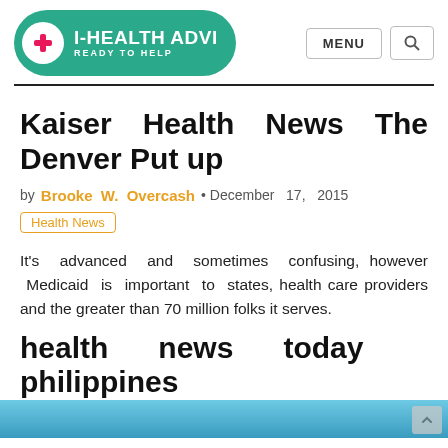I-HEALTH ADVI[SOR] READY TO HELP | MENU | [Search]
Kaiser Health News The Denver Put up
by Brooke W. Overcash • December 17, 2015
Health News
It's advanced and sometimes confusing, however Medicaid is important to states, health care providers and the greater than 70 million folks it serves.
health news today philippines
[Figure (photo): Partial image visible at bottom of page, appears to be a health-related photo in teal/blue tones]